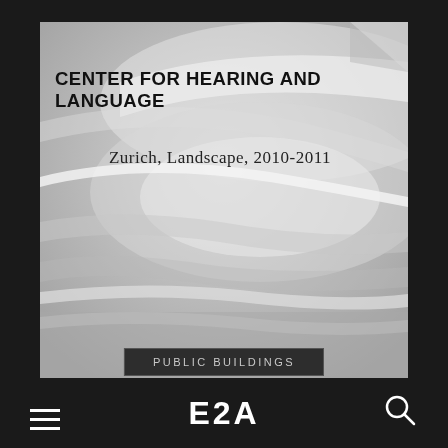[Figure (photo): Aerial or landscape photograph in grayscale showing curved terrain with sweeping white/light lines across rolling grassy or earthy landscape, viewed from above]
CENTER FOR HEARING AND LANGUAGE
Zurich, Landscape, 2010-2011
PUBLIC BUILDINGS
E2A